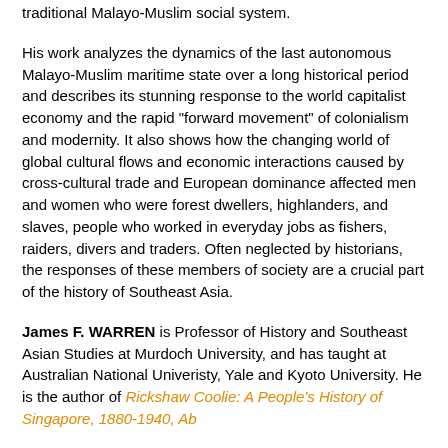traditional Malayo-Muslim social system.
His work analyzes the dynamics of the last autonomous Malayo-Muslim maritime state over a long historical period and describes its stunning response to the world capitalist economy and the rapid "forward movement" of colonialism and modernity. It also shows how the changing world of global cultural flows and economic interactions caused by cross-cultural trade and European dominance affected men and women who were forest dwellers, highlanders, and slaves, people who worked in everyday jobs as fishers, raiders, divers and traders. Often neglected by historians, the responses of these members of society are a crucial part of the history of Southeast Asia.
James F. WARREN is Professor of History and Southeast Asian Studies at Murdoch University, and has taught at Australian National Univeristy, Yale and Kyoto University. He is the author of Rickshaw Coolie: A People's History of Singapore, 1880-1940, Ab